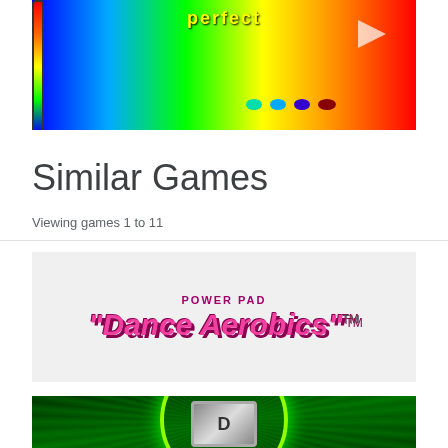[Figure (screenshot): Top portion of a colorful rainbow-themed game screenshot with red vertical bar on left and rainbow gradient background]
Similar Games
Viewing games 1 to 11
[Figure (screenshot): Power Pad Dance Aerobics game cover art with pink stylized text on light background]
[Figure (screenshot): Bottom game card showing a dark green radial burst/speedometer style graphic]